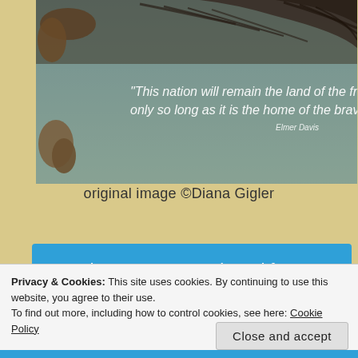[Figure (photo): Photo of a bird of prey (eagle/hawk) wings spread from above, perched on branches with pinecones. Overlaid white handwritten-style quote: "This nation will remain the land of the free only so long as it is the home of the brave." Elmer Davis]
original image ©Diana Gigler
Freedom quotes are shared for Marsha's Writers Quotes
Privacy & Cookies: This site uses cookies. By continuing to use this website, you agree to their use.
To find out more, including how to control cookies, see here: Cookie Policy